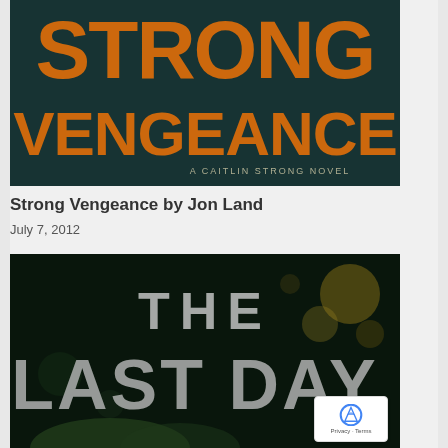[Figure (photo): Book cover of 'Strong Vengeance' by Jon Land — large orange bold text on dark teal/dark background reading 'STRONG VENGEANCE', subtitle 'A CAITLIN STRONG NOVEL']
Strong Vengeance by Jon Land
July 7, 2012
[Figure (photo): Book cover showing 'THE LAST DAY' in white speckled letters on a dark background with bokeh lights]